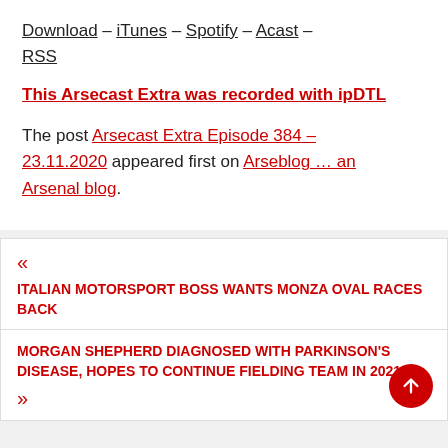Download – iTunes – Spotify – Acast – RSS
This Arsecast Extra was recorded with ipDTL
The post Arsecast Extra Episode 384 – 23.11.2020 appeared first on Arseblog … an Arsenal blog.
« ITALIAN MOTORSPORT BOSS WANTS MONZA OVAL RACES BACK
MORGAN SHEPHERD DIAGNOSED WITH PARKINSON'S DISEASE, HOPES TO CONTINUE FIELDING TEAM IN 2021 »